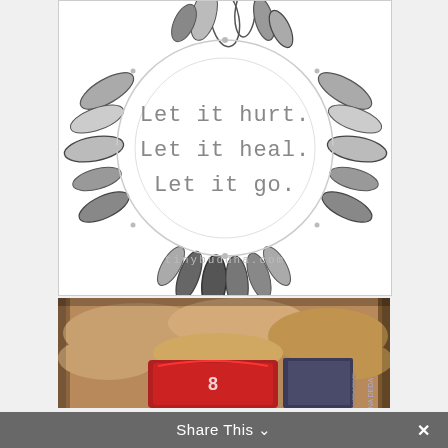[Figure (illustration): Black and white illustration of a feather wreath with text inside reading 'Let it hurt. Let it heal. Let it go.' and 'tinybuddha.com' at the bottom.]
[Figure (photo): Photo of an open cardboard box with brown kraft paper packing material and items inside including a red item and what appears to be a book.]
Share This ∨  ✕